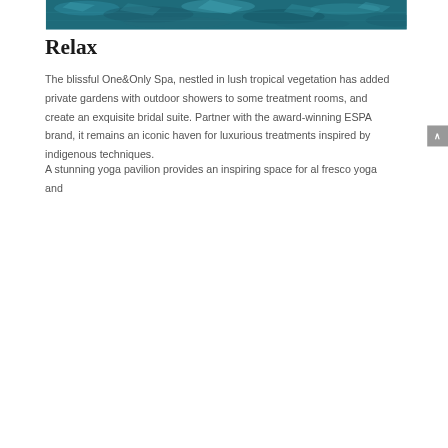[Figure (photo): Top portion of a water/pool surface photo with teal-blue tones, showing light reflections on rippling water.]
Relax
The blissful One&Only Spa, nestled in lush tropical vegetation has added private gardens with outdoor showers to some treatment rooms, and create an exquisite bridal suite. Partner with the award-winning ESPA brand, it remains an iconic haven for luxurious treatments inspired by indigenous techniques.
A stunning yoga pavilion provides an inspiring space for al fresco yoga and